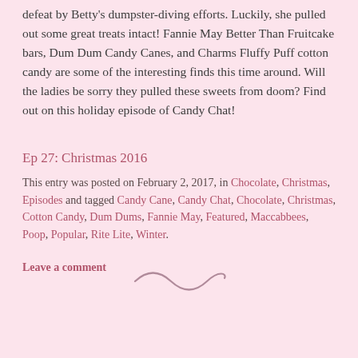defeat by Betty's dumpster-diving efforts. Luckily, she pulled out some great treats intact! Fannie May Better Than Fruitcake bars, Dum Dum Candy Canes, and Charms Fluffy Puff cotton candy are some of the interesting finds this time around. Will the ladies be sorry they pulled these sweets from doom? Find out on this holiday episode of Candy Chat!
Ep 27: Christmas 2016
This entry was posted on February 2, 2017, in Chocolate, Christmas, Episodes and tagged Candy Cane, Candy Chat, Chocolate, Christmas, Cotton Candy, Dum Dums, Fannie May, Featured, Maccabbees, Poop, Popular, Rite Lite, Winter.
Leave a comment
[Figure (illustration): A decorative tilde/swirl divider symbol centered on the page]